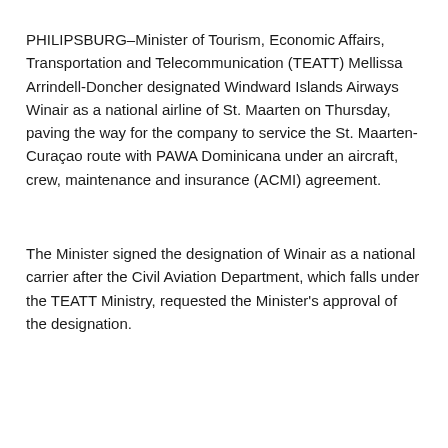PHILIPSBURG–Minister of Tourism, Economic Affairs, Transportation and Telecommunication (TEATT) Mellissa Arrindell-Doncher designated Windward Islands Airways Winair as a national airline of St. Maarten on Thursday, paving the way for the company to service the St. Maarten-Curaçao route with PAWA Dominicana under an aircraft, crew, maintenance and insurance (ACMI) agreement.
The Minister signed the designation of Winair as a national carrier after the Civil Aviation Department, which falls under the TEATT Ministry, requested the Minister's approval of the designation.